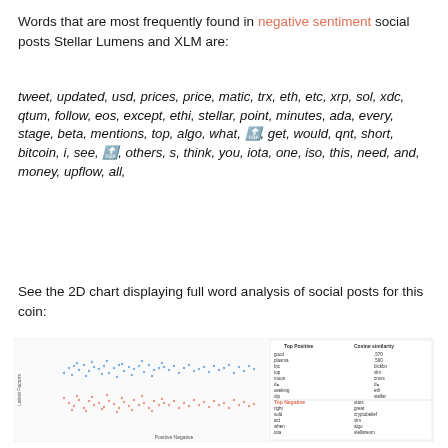Words that are most frequently found in negative sentiment social posts Stellar Lumens and XLM are:
tweet, updated, usd, prices, price, matic, trx, eth, etc, xrp, sol, xdc, qtum, follow, eos, except, ethi, stellar, point, minutes, ada, every, stage, beta, mentions, top, algo, what, 🔝, get, would, qnt, short, bitcoin, i, see, 🔝, others, s, think, you, iota, one, iso, this, need, and, money, upflow, all,
See the 2D chart displaying full word analysis of social posts for this coin:
[Figure (scatter-plot): 2D scatter plot showing word analysis of social posts for Stellar Lumens (XLM), with positive sentiment words shown in blue and negative sentiment words shown in red/orange. Includes a legend on the right showing Top Positive and Top Negative words with Cosine similarity values.]